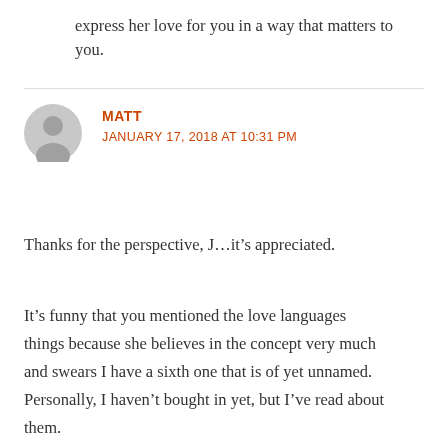express her love for you in a way that matters to you.
MATT
JANUARY 17, 2018 AT 10:31 PM
Thanks for the perspective, J…it's appreciated.
It's funny that you mentioned the love languages things because she believes in the concept very much and swears I have a sixth one that is of yet unnamed. Personally, I haven't bought in yet, but I've read about them.
You're right…I'm clearly not a gifts person and am